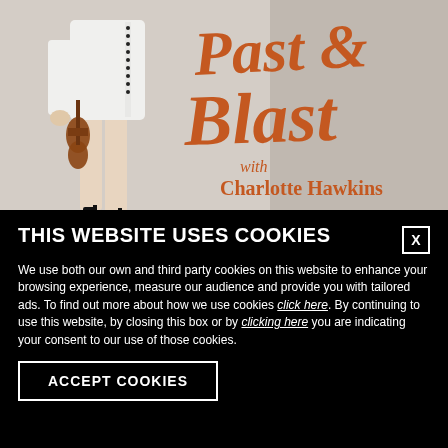[Figure (photo): Promotional event image for 'Past & Blast with Charlotte Hawkins'. Shows a woman in a white dress holding a violin on the left side, with large orange/rust colored cursive text reading 'Past & Blast' and below it 'with Charlotte Hawkins' on a light grey background.]
THIS WEBSITE USES COOKIES
We use both our own and third party cookies on this website to enhance your browsing experience, measure our audience and provide you with tailored ads. To find out more about how we use cookies click here. By continuing to use this website, by closing this box or by clicking here you are indicating your consent to our use of those cookies.
ACCEPT COOKIES